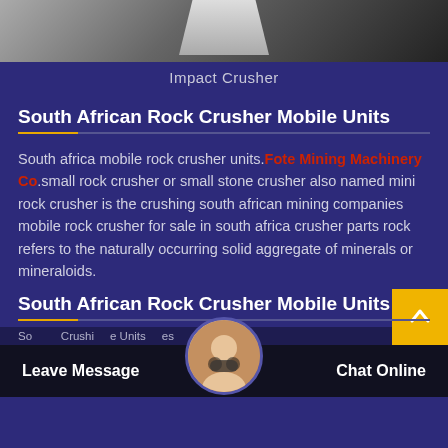[Figure (photo): Photo of an Impact Crusher machine on dark background, partially visible at top of page]
Impact Crusher
South African Rock Crusher Mobile Units
South africa mobile rock crusher units.Fote Mining Machinery Co.small rock crusher or small stone crusher also named mini rock crusher is the crushing south african mining companies mobile rock crusher for sale in south africa crusher parts rock refers to the naturally occurring solid aggregate of minerals or mineraloids.
South African Rock Crusher Mobile Units
Leave Message  Chat Online